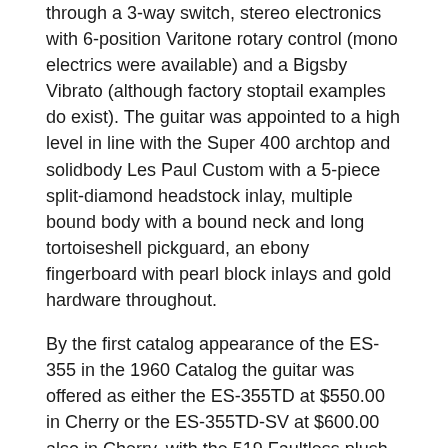through a 3-way switch, stereo electronics with 6-position Varitone rotary control (mono electrics were available) and a Bigsby Vibrato (although factory stoptail examples do exist). The guitar was appointed to a high level in line with the Super 400 archtop and solidbody Les Paul Custom with a 5-piece split-diamond headstock inlay, multiple bound body with a bound neck and long tortoiseshell pickguard, an ebony fingerboard with pearl block inlays and gold hardware throughout.
By the first catalog appearance of the ES-355 in the 1960 Catalog the guitar was offered as either the ES-355TD at $550.00 in Cherry or the ES-355TD-SV at $600.00 also in Cherry, with the 519 Faultless plush-lined case costing an additional $47.00. Shipping records show a total of 291 ES-355s shipped with 174 of those being the ES-355TD-SV.
This 1961 example features a sideways Vibrola and factory Grover tuners. A rare guitar in excellent condition with its